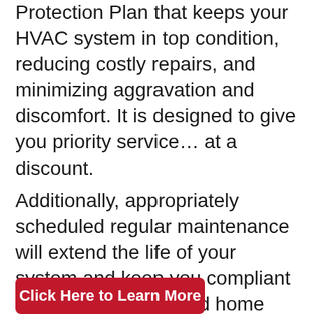Protection Plan that keeps your HVAC system in top condition, reducing costly repairs, and minimizing aggravation and discomfort. It is designed to give you priority service… at a discount.
Additionally, appropriately scheduled regular maintenance will extend the life of your system and keep you compliant with manufacturer and home warranties.
When you are ready to upgrade to a newer, more energy efficient unit, we give you a discount on your purchase.
[Figure (other): Red button partially visible at bottom of page with white text]